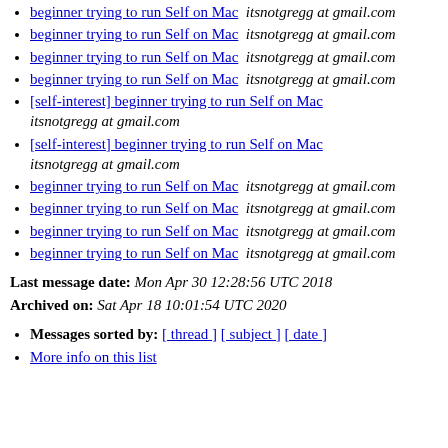beginner trying to run Self on Mac  itsnotgregg at gmail.com
beginner trying to run Self on Mac  itsnotgregg at gmail.com
beginner trying to run Self on Mac  itsnotgregg at gmail.com
beginner trying to run Self on Mac  itsnotgregg at gmail.com
[self-interest] beginner trying to run Self on Mac  itsnotgregg at gmail.com
[self-interest] beginner trying to run Self on Mac  itsnotgregg at gmail.com
beginner trying to run Self on Mac  itsnotgregg at gmail.com
beginner trying to run Self on Mac  itsnotgregg at gmail.com
beginner trying to run Self on Mac  itsnotgregg at gmail.com
beginner trying to run Self on Mac  itsnotgregg at gmail.com
Last message date: Mon Apr 30 12:28:56 UTC 2018
Archived on: Sat Apr 18 10:01:54 UTC 2020
Messages sorted by: [ thread ] [ subject ] [ date ]
More info on this list